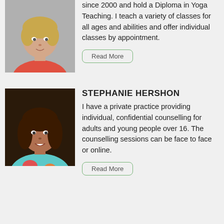[Figure (photo): Headshot of a woman with short blonde hair wearing a red/coral top, light gray background]
since 2000 and hold a Diploma in Yoga Teaching. I teach a variety of classes for all ages and abilities and offer individual classes by appointment.
Read More
[Figure (photo): Headshot of a woman with long brown hair, smiling, wearing a colorful floral top, dark background]
STEPHANIE HERSHON
I have a private practice providing individual, confidential counselling for adults and young people over 16. The counselling sessions can be face to face or online.
Read More